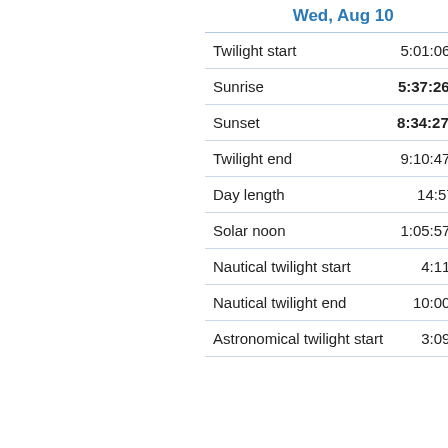| Wed, Aug 10 |  |
| --- | --- |
| Twilight start | 5:01:06 am |
| Sunrise | 5:37:26 am |
| Sunset | 8:34:27 pm |
| Twilight end | 9:10:47 pm |
| Day length | 14:57:01 |
| Solar noon | 1:05:57 pm |
| Nautical twilight start | 4:11 am |
| Nautical twilight end | 10:00 pm |
| Astronomical twilight start | 3:09 am |